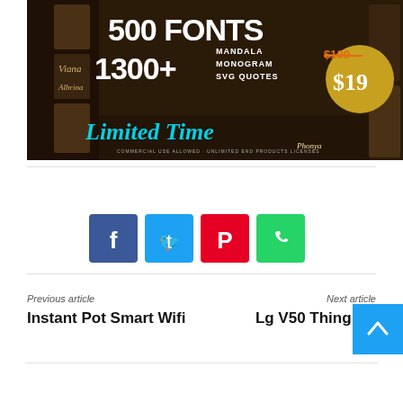[Figure (illustration): Promotional banner for a font bundle: '500 FONTS 1300+ MANDALA MONOGRAM SVG QUOTES' with price $100 crossed out and $19, text 'Limited Time', commercial use allowed. Dark brown collage background with various font samples.]
[Figure (infographic): Four social sharing buttons: Facebook (blue), Twitter (light blue), Pinterest (red), WhatsApp (green), each with respective icons.]
Previous article
Instant Pot Smart Wifi
Next article
Lg V50 Thing 5G